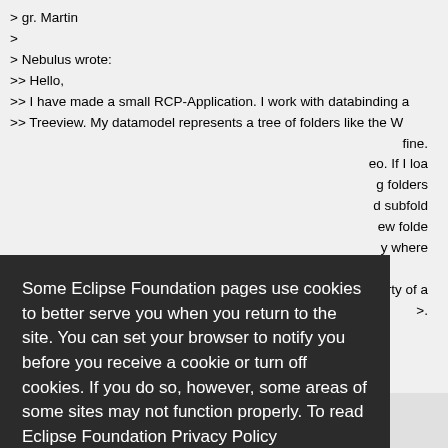> gr. Martin
>
> Nebulus wrote:
>> Hello,
>> I have made a small RCP-Application. I work with databinding a
>> Treeview. My datamodel represents a tree of folders like the W
[partially obscured by overlay] fine.
[partially obscured] eo. If I loa
[partially obscured] g folders
[partially obscured] d subfold
[partially obscured] ew folde
[partially obscured] y where
[partially obscured] erty of a
[partially obscured] >.
Some Eclipse Foundation pages use cookies to better serve you when you return to the site. You can set your browser to notify you before you receive a cookie or turn off cookies. If you do so, however, some areas of some sites may not function properly. To read Eclipse Foundation Privacy Policy click here.
Decline
Allow cookies